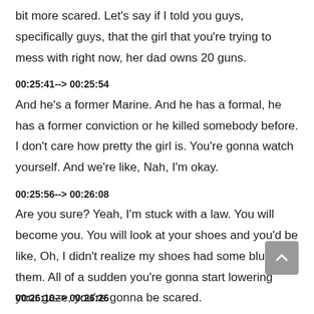bit more scared. Let's say if I told you guys, specifically guys, that the girl that you're trying to mess with right now, her dad owns 20 guns.
00:25:41--> 00:25:54
And he's a former Marine. And he has a formal, he has a former conviction or he killed somebody before. I don't care how pretty the girl is. You're gonna watch yourself. And we're like, Nah, I'm okay.
00:25:56--> 00:26:08
Are you sure? Yeah, I'm stuck with a law. You will become you. You will look at your shoes and you'd be like, Oh, I didn't realize my shoes had some blue on them. All of a sudden you're gonna start lowering your gaze, you're gonna be scared.
00:26:10--> 00:26:26